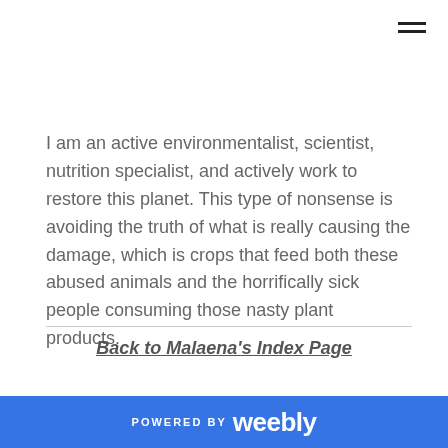I am an active environmentalist, scientist, nutrition specialist, and actively work to restore this planet. This type of nonsense is avoiding the truth of what is really causing the damage, which is crops that feed both these abused animals and the horrifically sick people consuming those nasty plant products.
Back to Malaena's Index Page
POWERED BY weebly